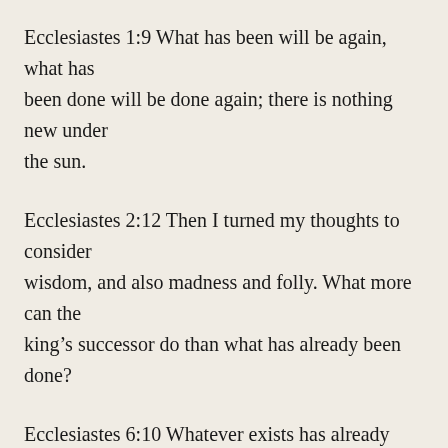Ecclesiastes 1:9 What has been will be again, what has been done will be done again; there is nothing new under the sun.
Ecclesiastes 2:12 Then I turned my thoughts to consider wisdom, and also madness and folly. What more can the king’s successor do than what has already been done?
Ecclesiastes 6:10 Whatever exists has already been